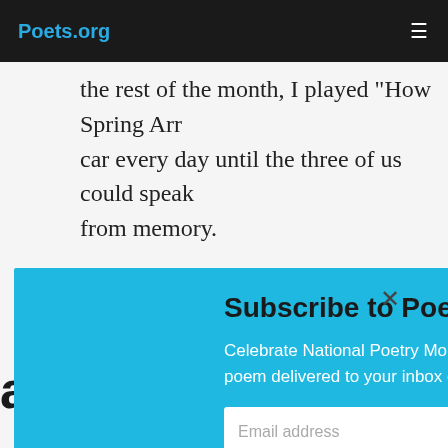Poets.org
the rest of the month, I played "How Spring Arr… car every day until the three of us could speak … from memory.
The last lines of this ode to spring will stay with… ad bee… my ch… gether… st tim…
[Figure (screenshot): Subscribe to Poem-a-Day modal popup with email input field and red submit button on a cyan/blue background]
On Lines by Winifred M. Letts